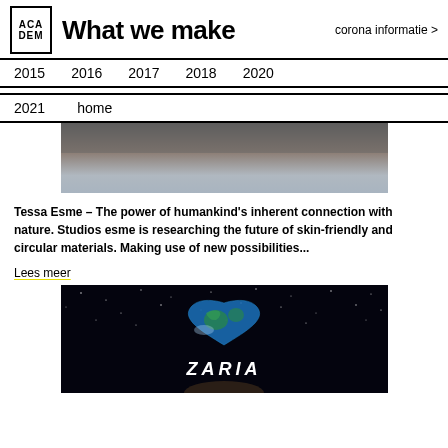What we make
corona informatie >
2015  2016  2017  2018  2020
2021  home
[Figure (photo): Top portion of a nature/skin texture photo, partially visible]
Tessa Esme – The power of humankind's inherent connection with nature. Studios esme is researching the future of skin-friendly and circular materials. Making use of new possibilities...
Lees meer
[Figure (photo): Dark space background with a heart-shaped earth globe and 'ZARIA' text overlay]